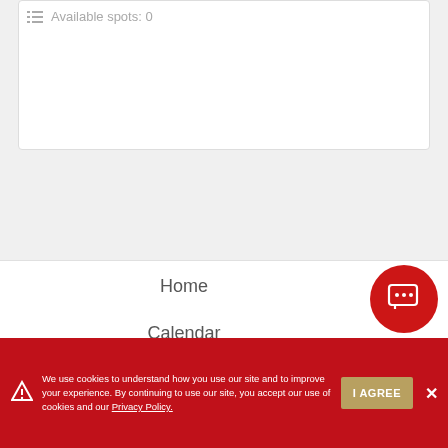Available spots: 0
Home
Calendar
[Figure (illustration): Red circular chat button with speech bubble and ellipsis icon]
We use cookies to understand how you use our site and to improve your experience. By continuing to use our site, you accept our use of cookies and our Privacy Policy.